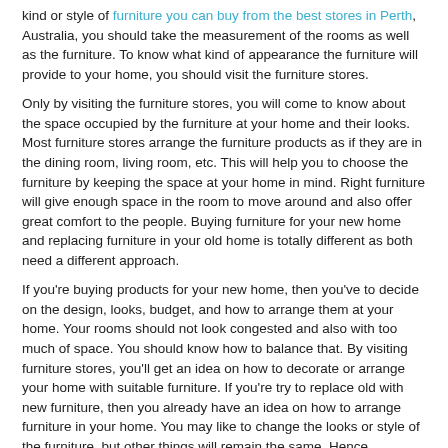kind or style of furniture you can buy from the best stores in Perth, Australia, you should take the measurement of the rooms as well as the furniture. To know what kind of appearance the furniture will provide to your home, you should visit the furniture stores.
Only by visiting the furniture stores, you will come to know about the space occupied by the furniture at your home and their looks. Most furniture stores arrange the furniture products as if they are in the dining room, living room, etc. This will help you to choose the furniture by keeping the space at your home in mind. Right furniture will give enough space in the room to move around and also offer great comfort to the people. Buying furniture for your new home and replacing furniture in your old home is totally different as both need a different approach.
If you're buying products for your new home, then you've to decide on the design, looks, budget, and how to arrange them at your home. Your rooms should not look congested and also with too much of space. You should know how to balance that. By visiting furniture stores, you'll get an idea on how to decorate or arrange your home with suitable furniture. If you're try to replace old with new furniture, then you already have an idea on how to arrange furniture in your home. You may like to change the looks or style of the furniture, but other things will remain the same. Hence, replacing old furniture with new ones is not a big deal like buying new furniture for a newly built home.
Most of the shoppers are worried about the price of the products. You don't need worry about prices displayed on the furniture products. You can negotiate with the store owner to reduce the price on the products. Mostly, you will get some discount on the products, especially when you buy in bulk. The store owners know that people do need some amount as discount while purchasing furniture items. Hence, they will be ready for giving you a discount and they know that how much they can go down.